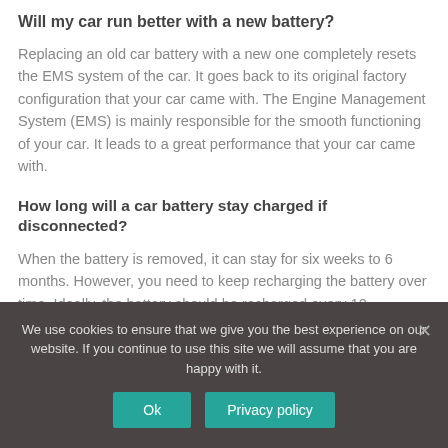Will my car run better with a new battery?
Replacing an old car battery with a new one completely resets the EMS system of the car. It goes back to its original factory configuration that your car came with. The Engine Management System (EMS) is mainly responsible for the smooth functioning of your car. It leads to a great performance that your car came with.
How long will a car battery stay charged if disconnected?
When the battery is removed, it can stay for six weeks to 6 months. However, you need to keep recharging the battery over time. Ideally, the battery should be recharged every 12
We use cookies to ensure that we give you the best experience on our website. If you continue to use this site we will assume that you are happy with it.